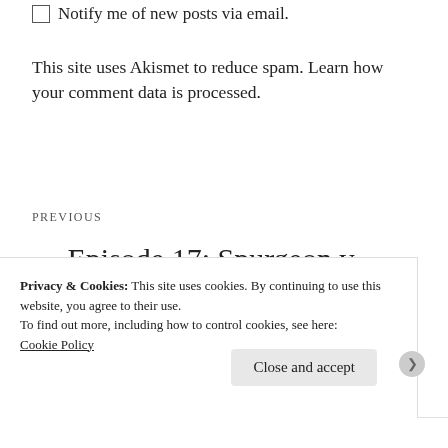Notify me of new posts via email.
This site uses Akismet to reduce spam. Learn how your comment data is processed.
PREVIOUS
← Episode 17: Spurgeon v Edwards – Dawn of the Kingdom of Heaven
Privacy & Cookies: This site uses cookies. By continuing to use this website, you agree to their use.
To find out more, including how to control cookies, see here:
Cookie Policy
Close and accept